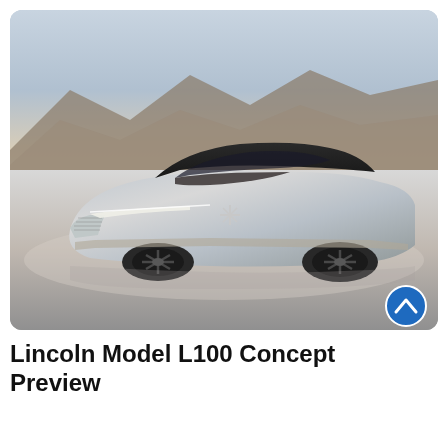[Figure (photo): Lincoln Model L100 Concept car — a futuristic silver luxury sedan with a streamlined body, panoramic dark glass roof, distinctive Lincoln star logo on the front, sculptural multi-spoke wheels, and a horizontal LED light bar across the front grille. The car is parked on a reflective salt flat with mountains and a hazy sky in the background. A blue circular scroll-up button with a chevron icon is visible in the bottom-right corner of the image.]
Lincoln Model L100 Concept Preview